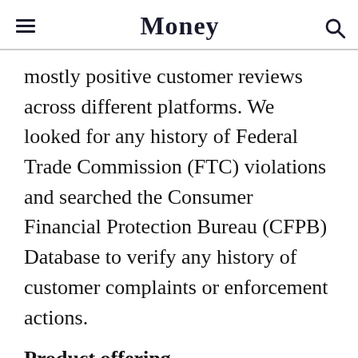Money
mostly positive customer reviews across different platforms. We looked for any history of Federal Trade Commission (FTC) violations and searched the Consumer Financial Protection Bureau (CFPB) Database to verify any history of customer complaints or enforcement actions.
Product offering
A credit repair service assumes responsibility for writing dispute letters,